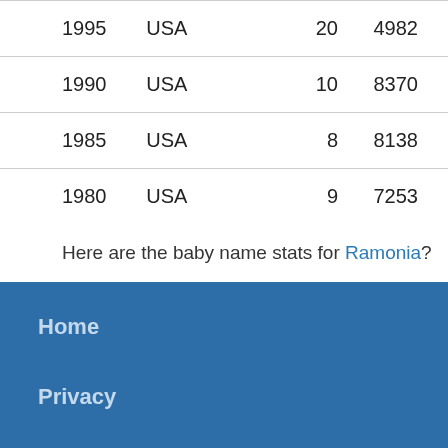| 1995 | USA | 20 | 4982 |
| 1990 | USA | 10 | 8370 |
| 1985 | USA | 8 | 8138 |
| 1980 | USA | 9 | 7253 |
Here are the baby name stats for Ramonia?
Home
Privacy
About